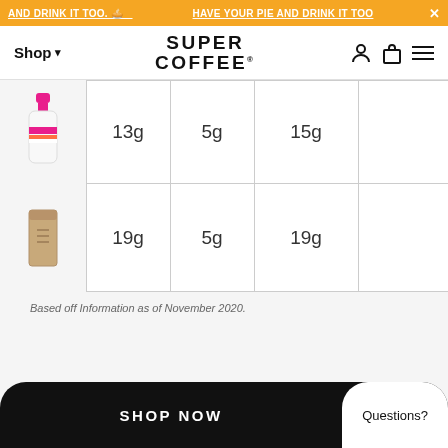HAVE YOUR PIE AND DRINK IT TOO.
[Figure (logo): Super Coffee logo with navigation bar showing Shop menu, user icon, cart icon, and hamburger menu]
| Product | Col1 | Col2 | Col3 | Col4 |
| --- | --- | --- | --- | --- |
| [bottle icon] | 13g | 5g | 15g |  |
| [bag icon] | 19g | 5g | 19g |  |
Based off Information as of November 2020.
SHOP NOW   Questions?